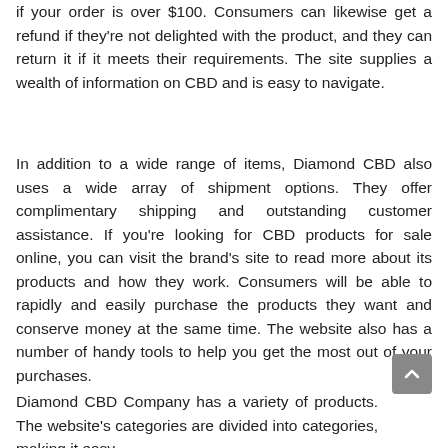if your order is over $100. Consumers can likewise get a refund if they're not delighted with the product, and they can return it if it meets their requirements. The site supplies a wealth of information on CBD and is easy to navigate.
In addition to a wide range of items, Diamond CBD also uses a wide array of shipment options. They offer complimentary shipping and outstanding customer assistance. If you're looking for CBD products for sale online, you can visit the brand's site to read more about its products and how they work. Consumers will be able to rapidly and easily purchase the products they want and conserve money at the same time. The website also has a number of handy tools to help you get the most out of your purchases.
Diamond CBD Company has a variety of products. The website's categories are divided into categories, making it easy…